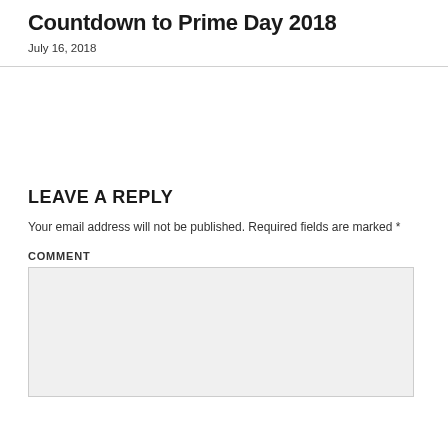Countdown to Prime Day 2018
July 16, 2018
LEAVE A REPLY
Your email address will not be published. Required fields are marked *
COMMENT